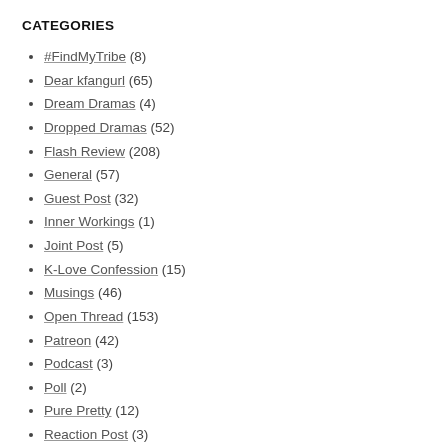CATEGORIES
#FindMyTribe (8)
Dear kfangurl (65)
Dream Dramas (4)
Dropped Dramas (52)
Flash Review (208)
General (57)
Guest Post (32)
Inner Workings (1)
Joint Post (5)
K-Love Confession (15)
Musings (46)
Open Thread (153)
Patreon (42)
Podcast (3)
Poll (2)
Pure Pretty (12)
Reaction Post (3)